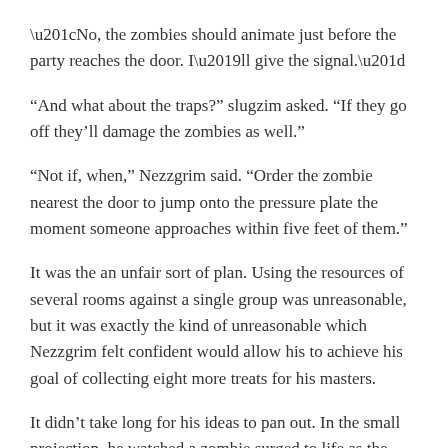“No, the zombies should animate just before the party reaches the door. I’ll give the signal.”
“And what about the traps?” slugzim asked. “If they go off they’ll damage the zombies as well.”
“Not if, when,” Nezzgrim said. “Order the zombie nearest the door to jump onto the pressure plate the moment someone approaches within five feet of them.”
It was the an unfair sort of plan. Using the resources of several rooms against a single group was unreasonable, but it was exactly the kind of unreasonable which Nezzgrim felt confident would allow his to achieve his goal of collecting eight more treats for his masters.
It didn’t take long for his ideas to pan out. In the small projection, he watched a zombie surged to life as the party